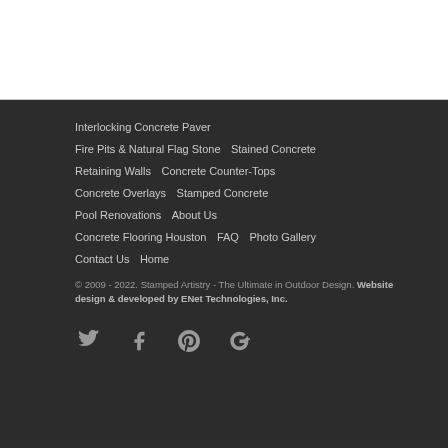Interlocking Concrete Paver
Fire Pits & Natural Flag Stone    Stained Concrete
Retaining Walls    Concrete Counter-Tops
Concrete Overlays    Stamped Concrete
Pool Renovations    About Us
Concrete Flooring Houston    FAQ    Photo Gallery
Contact Us    Home
© 2009 - 2022. Stamped Artistry - The Ultimate in Outdoor Design. Website design & developed by ENet Technologies, Inc.
[Figure (other): Social media icons: Twitter, Facebook, Pinterest, Google+]